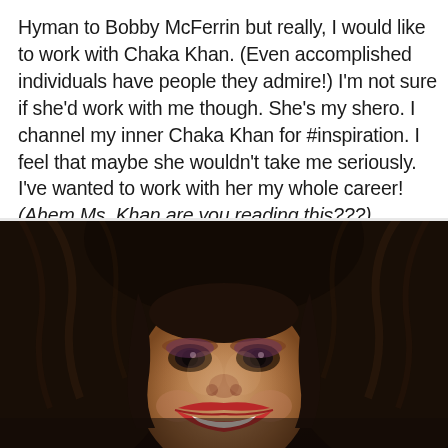Hyman to Bobby McFerrin but really, I would like to work with Chaka Khan. (Even accomplished individuals have people they admire!) I'm not sure if she'd work with me though. She's my shero. I channel my inner Chaka Khan for #inspiration. I feel that maybe she wouldn't take me seriously. I've wanted to work with her my whole career! (Ahem Ms. Khan are you reading this???)
[Figure (photo): Close-up portrait photo of Chaka Khan smiling, with voluminous dark curly hair, wearing dramatic eye makeup and red lipstick against a dark background.]